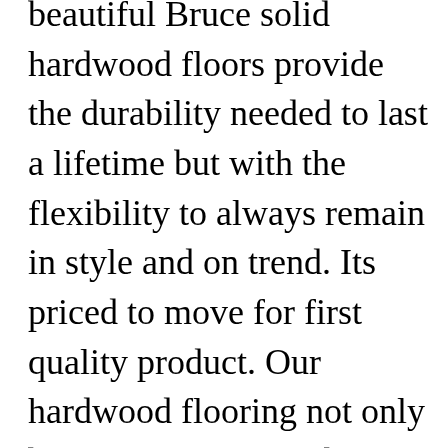beautiful Bruce solid hardwood floors provide the durability needed to last a lifetime but with the flexibility to always remain in style and on trend. Its priced to move for first quality product. Our hardwood flooring not only brings a quality feel but an unbeatable price you wont find anywhere else. Below are CRs top-scoring options for engineered wood laminate linoleum prefinished solid wood porcelain tile and vinyl flooring plus a runner-up in each category.